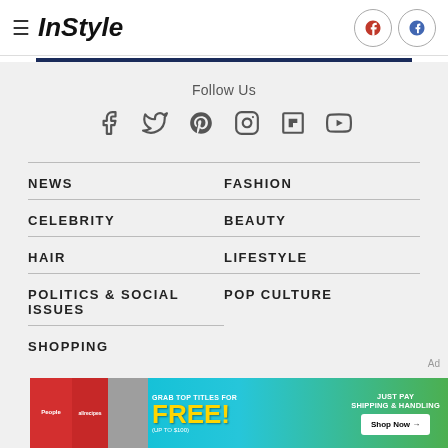InStyle
Follow Us
[Figure (infographic): Social media icons row: Facebook, Twitter, Pinterest, Instagram, Flipboard, YouTube]
NEWS
FASHION
CELEBRITY
BEAUTY
HAIR
LIFESTYLE
POLITICS & SOCIAL ISSUES
POP CULTURE
SHOPPING
[Figure (infographic): Advertisement banner: Grab top titles for FREE (up to $100) - Just Pay Shipping & Handling - Shop Now arrow button. Features People and allrecipes magazine covers.]